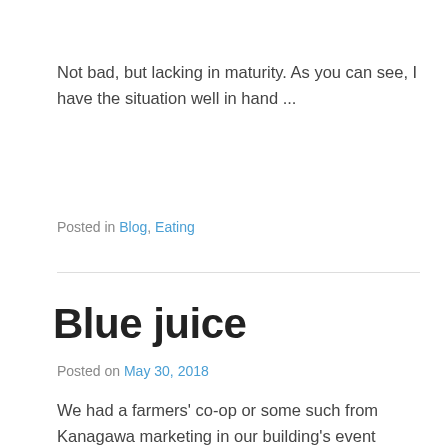Not bad, but lacking in maturity. As you can see, I have the situation well in hand ...
Posted in Blog, Eating
Blue juice
Posted on May 30, 2018
We had a farmers' co-op or some such from Kanagawa marketing in our building's event space over the weekend. We picked up some spuds, onions, a zucchini ...
Among the offerings was a powdered drink made
[Figure (photo): A photo of a packaged product, dark background with a label visible]